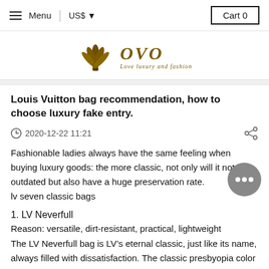Menu  US$  Cart 0
[Figure (logo): OVO logo with fan/flower icon in dark gold and text 'OVO Love luxury and fashion']
Louis Vuitton bag recommendation, how to choose luxury fake entry.
2020-12-22 11:21
Fashionable ladies always have the same feeling when buying luxury goods: the more classic, not only will it not be outdated but also have a huge preservation rate.
lv seven classic bags
1. LV Neverfull
Reason: versatile, dirt-resistant, practical, lightweight
The LV Neverfull bag is LV’s eternal classic, just like its name, always filled with dissatisfaction. The classic presbyopia color